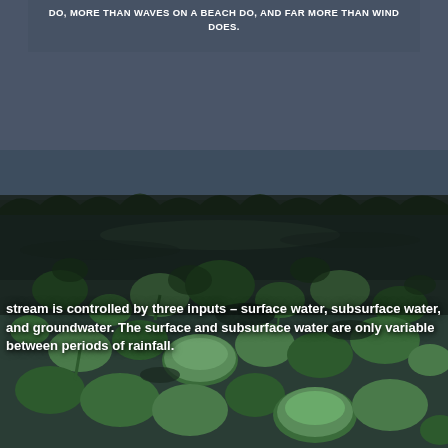[Figure (photo): A photograph of a water body covered in green lily pads and aquatic vegetation, with a dark blue-grey overlay box at the top containing white text. The scene is a lush wetland or pond.]
DO, MORE THAN WAVES ON A BEACH DO, AND FAR MORE THAN WIND DOES.
stream is controlled by three inputs – surface water, subsurface water, and groundwater. The surface and subsurface water are only variable between periods of rainfall.
https://www.canva.com/design/DAEa7AF2Ic8/f-cUeGkY7DhE5l3-wGLdeA/watch?utm_content=DAEa7AF2Ic8&utm_campaign=designshare&utm_medium=link&utm_source=publishsharelink
https://www.msusa.com/wp-content/uploads/2021/04/Video-What-are-streams-2_Page_2-scaled.jpg